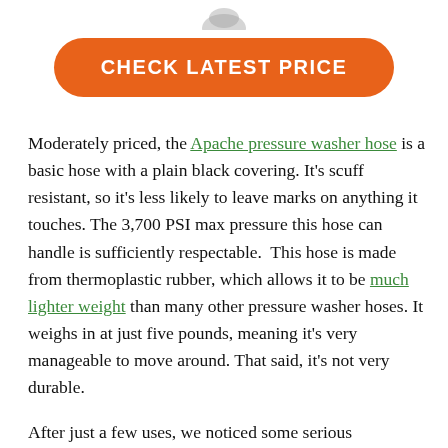[Figure (photo): Partial product image at top of page (Apache pressure washer hose, cropped)]
CHECK LATEST PRICE
Moderately priced, the Apache pressure washer hose is a basic hose with a plain black covering. It's scuff resistant, so it's less likely to leave marks on anything it touches. The 3,700 PSI max pressure this hose can handle is sufficiently respectable. This hose is made from thermoplastic rubber, which allows it to be much lighter weight than many other pressure washer hoses. It weighs in at just five pounds, meaning it's very manageable to move around. That said, it's not very durable.
After just a few uses, we noticed some serious